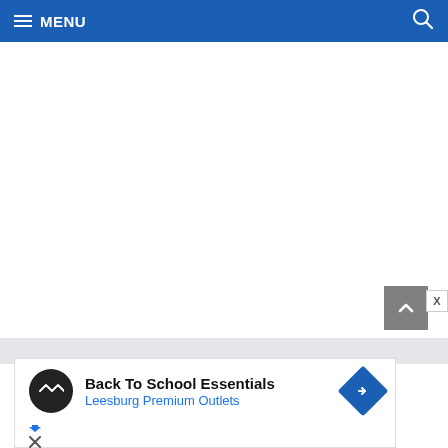MENU
[Figure (screenshot): White content area, blank page body]
[Figure (infographic): Gray scroll-to-top button with upward chevron arrow, and X close button]
[Figure (infographic): Advertisement banner: Back To School Essentials - Leesburg Premium Outlets with logo and navigation icon]